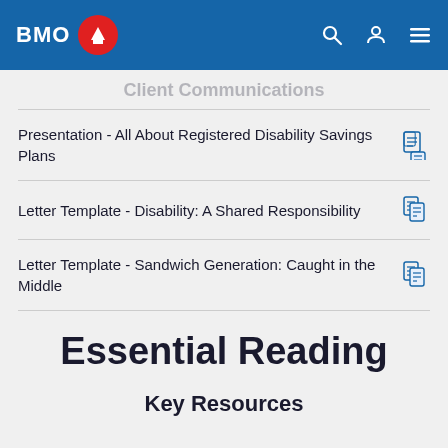[Figure (logo): BMO Bank of Montreal logo - white BMO text with red circle containing white mountain/building icon on blue header background]
Client Communications
Presentation - All About Registered Disability Savings Plans
Letter Template - Disability: A Shared Responsibility
Letter Template - Sandwich Generation: Caught in the Middle
Essential Reading
Key Resources